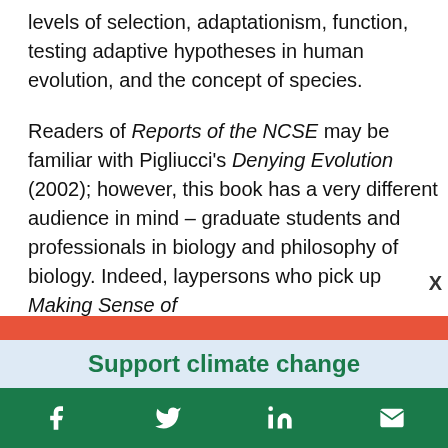levels of selection, adaptationism, function, testing adaptive hypotheses in human evolution, and the concept of species.
Readers of Reports of the NCSE may be familiar with Pigliucci's Denying Evolution (2002); however, this book has a very different audience in mind – graduate students and professionals in biology and philosophy of biology. Indeed, laypersons who pick up Making Sense of
[Figure (other): Red/orange overlay bar covering lower portion of text]
Support climate change
[Figure (infographic): Green social media sharing bar with Facebook, Twitter, LinkedIn, and email icons]